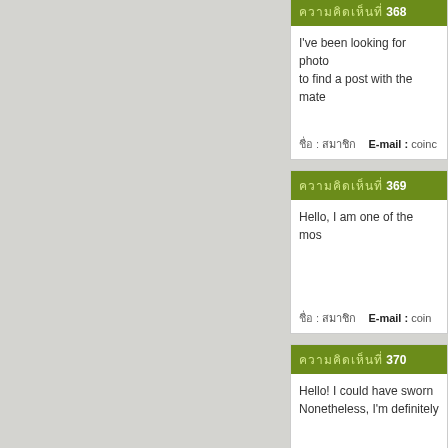ความคิดเห็นที่ 368
I've been looking for photo to find a post with the mate
ชื่อ : สมาชิก   E-mail : coinc
ความคิดเห็นที่ 369
Hello, I am one of the mos
ชื่อ : สมาชิก   E-mail : coin
ความคิดเห็นที่ 370
Hello! I could have sworn Nonetheless, I'm definitely
ชื่อ : สมาชิกtest   E-mail : jsj